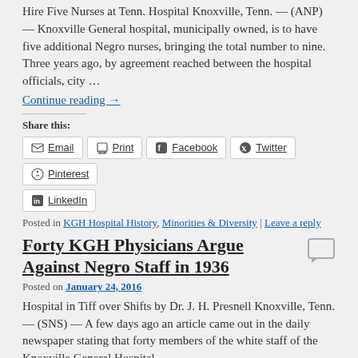Hire Five Nurses at Tenn. Hospital Knoxville, Tenn. — (ANP) — Knoxville General hospital, municipally owned, is to have five additional Negro nurses, bringing the total number to nine. Three years ago, by agreement reached between the hospital officials, city …
Continue reading →
Share this:
Email | Print | Facebook | Twitter | Pinterest | LinkedIn
Posted in KGH Hospital History, Minorities & Diversity | Leave a reply
Forty KGH Physicians Argue Against Negro Staff in 1936
Posted on January 24, 2016
Hospital in Tiff over Shifts by Dr. J. H. Presnell Knoxville, Tenn. — (SNS) — A few days ago an article came out in the daily newspaper stating that forty members of the white staff of the Knoxville General Hospital …